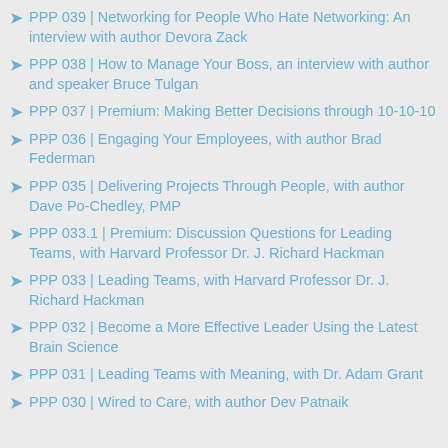PPP 039 | Networking for People Who Hate Networking: An interview with author Devora Zack
PPP 038 | How to Manage Your Boss, an interview with author and speaker Bruce Tulgan
PPP 037 | Premium: Making Better Decisions through 10-10-10
PPP 036 | Engaging Your Employees, with author Brad Federman
PPP 035 | Delivering Projects Through People, with author Dave Po-Chedley, PMP
PPP 033.1 | Premium: Discussion Questions for Leading Teams, with Harvard Professor Dr. J. Richard Hackman
PPP 033 | Leading Teams, with Harvard Professor Dr. J. Richard Hackman
PPP 032 | Become a More Effective Leader Using the Latest Brain Science
PPP 031 | Leading Teams with Meaning, with Dr. Adam Grant
PPP 030 | Wired to Care, with author Dev Patnaik